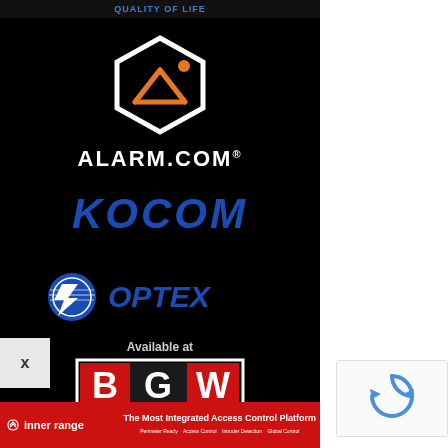[Figure (logo): Alarm.com logo: white hexagon outline with orange mountain/person icon, white text ALARM.COM with registered trademark on black background]
[Figure (logo): KOCOM logo in large bold italic blue text on black background]
[Figure (logo): OPTEX logo with blue circular icon with lightning bolt and white OPTEX text on black background]
Available at
[Figure (logo): BGW Technologies logo: B in red square, G in dark square, W in red square, TECHNOLOGIES text below, white border]
[Figure (logo): Inner Range banner at bottom: red background, Inner Range logo, text 'The Most Integrated Access Control Platform', icons for Perimeter Ready, Access Control, Intruder Detection, Global Control, Click here for more details, device screenshots]
[Figure (logo): reCAPTCHA widget on white right panel]